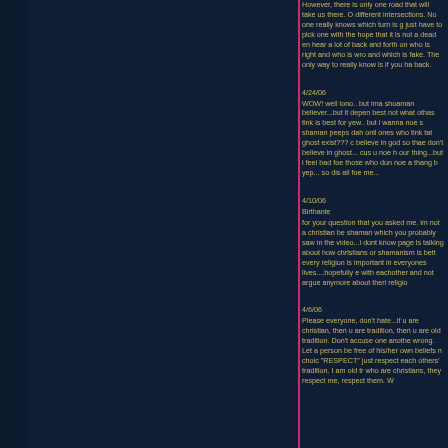However, there is only one road that will take us there. O different intersections. No one really knows which turn is g just have to pick one with the hope that it is not a dead en hear a lot of back and forth on who is right and who is wro and which is fake. The only way to really know is if you ha back.
4/24/06
WOW! well iono.. but ima shoaman believer...but it depen best not what othas tink is best for yew.. but i wanna noe s shaman peeps dah onli ones who tink tat ghost exist??? c believe in god so thae don't believe in ghost... cus u noe h our thing...but i feel bad foe those who dun noe a thang b yep... so dis all foe me...
4/10/06
Birthanie
for your question that you asked me. im not a christian be shaman which you probably saw in the video...i dont know page is talking about how christians or shamanism is bett every religion is important in everyones lives....hopefully e with eachother and not argue anymore about theri religio
4/6/06
Please everyone, don't hate...if u are christian, then u are tradition, then u are old tradition. Don't accuse one anothe wrong. Let a person be free of his/her own beliefs n choic "RESPECT" just respect each others' tradition. I am old tr who are christians, they respect me, respect them. W